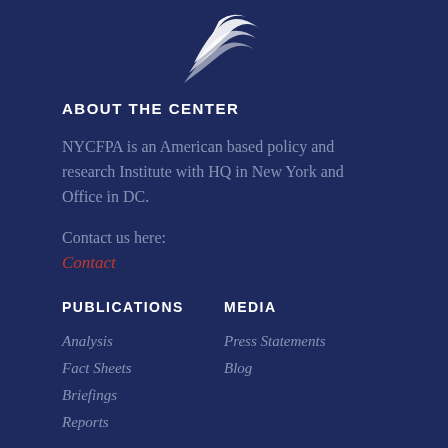[Figure (logo): NYCFPA logo with white wave/bird graphic on dark navy background]
ABOUT THE CENTER
NYCFPA is an American based policy and research Institute with HQ in New York and Office in DC.
Contact us here:
Contact
PUBLICATIONS
MEDIA
Analysis
Fact Sheets
Briefings
Reports
Press Statements
Blog